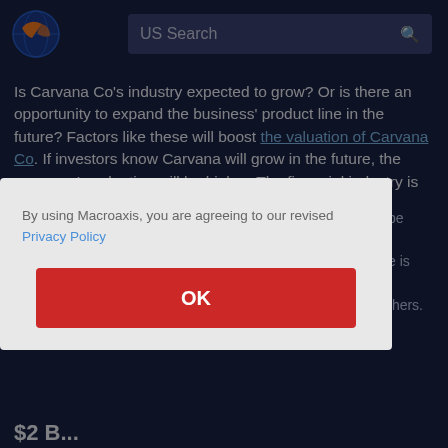[Figure (logo): Macroaxis logo — circular globe with orange and blue design]
US Search
Is Carvana Co's industry expected to grow? Or is there an opportunity to expand the business' product line in the future? Factors like these will boost the valuation of Carvana Co. If investors know Carvana will grow in the future, the company's valuation will be higher. The financial industry is built on trying to define current growth potential
By using Macroaxis, you are agreeing to our revised Privacy Policy
OK